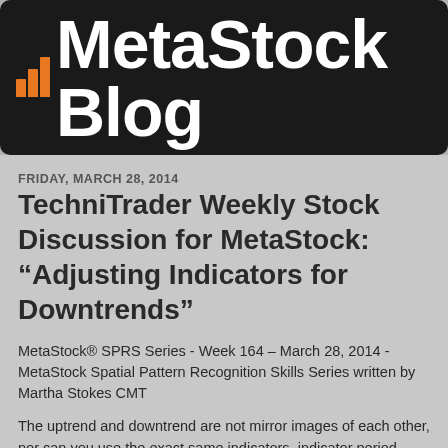[Figure (logo): MetaStock Blog banner with orange bar chart icon and white text on black background]
FRIDAY, MARCH 28, 2014
TechniTrader Weekly Stock Discussion for MetaStock: “Adjusting Indicators for Downtrends”
MetaStock® SPRS Series - Week 164 – March 28, 2014 - MetaStock Spatial Pattern Recognition Skills Series written by Martha Stokes CMT
The uptrend and downtrend are not mirror images of each other, nor can you use the exact same indicators, indicator period settings, or subordinate indicators.